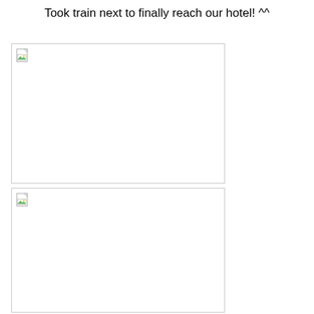Took train next to finally reach our hotel! ^^
[Figure (photo): Broken image placeholder 1 — photo of train or hotel (image not loaded)]
[Figure (photo): Broken image placeholder 2 — photo of train or hotel (image not loaded)]